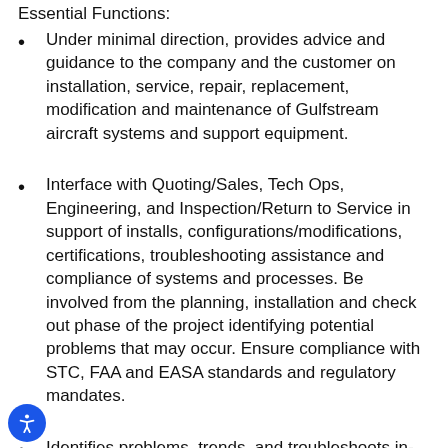Essential Functions:
Under minimal direction, provides advice and guidance to the company and the customer on installation, service, repair, replacement, modification and maintenance of Gulfstream aircraft systems and support equipment.
Interface with Quoting/Sales, Tech Ops, Engineering, and Inspection/Return to Service in support of installs, configurations/modifications, certifications, troubleshooting assistance and compliance of systems and processes. Be involved from the planning, installation and check out phase of the project identifying potential problems that may occur. Ensure compliance with STC, FAA and EASA standards and regulatory mandates.
Identifies problems, trends, and troubleshoots in-service aircraft. Develops, prepares and updates new and existing troubleshooting procedures. Coordinate the development and evaluation of test equipment for use on Gulfstream aircraft.